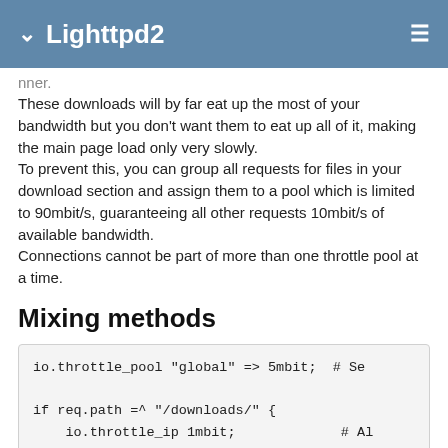Lighttpd2
nner.
These downloads will by far eat up the most of your bandwidth but you don't want them to eat up all of it, making the main page load only very slowly.
To prevent this, you can group all requests for files in your download section and assign them to a pool which is limited to 90mbit/s, guaranteeing all other requests 10mbit/s of available bandwidth.
Connections cannot be part of more than one throttle pool at a time.
Mixing methods
io.throttle_pool "global" => 5mbit;  # Se

if req.path =^ "/downloads/" {
    io.throttle_ip 1mbit;             # Al
}
The three methods of throttling explained above are not mutually exclusive, meaning you can combine them.
For example you can limit each connection to 1mbit/s and your whole server (by using a global throttle pool) to 50mbit/s.